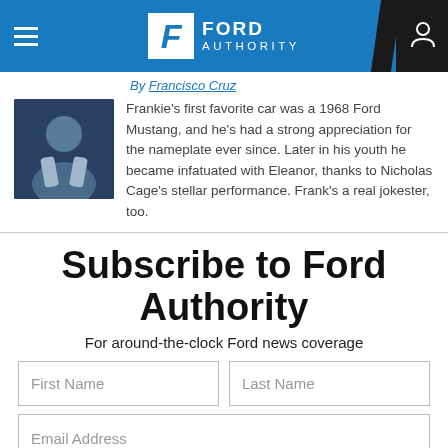Ford Authority
By Francisco Cruz
Frankie's first favorite car was a 1968 Ford Mustang, and he's had a strong appreciation for the nameplate ever since. Later in his youth he became infatuated with Eleanor, thanks to Nicholas Cage's stellar performance. Frank's a real jokester, too.
Subscribe to Ford Authority
For around-the-clock Ford news coverage
First Name | Last Name | Email Address | SUBSCRIBE VIA EMAIL